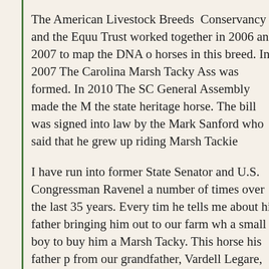The American Livestock Breeds Conservancy and the Equu Trust worked together in 2006 and 2007 to map the DNA o horses in this breed. In 2007 The Carolina Marsh Tacky Ass was formed. In 2010 The SC General Assembly made the M the state heritage horse. The bill was signed into law by the Mark Sanford who said that he grew up riding Marsh Tackie
I have run into former State Senator and U.S. Congressman Ravenel a number of times over the last 35 years. Every tim he tells me about his father bringing him out to our farm wh a small boy to buy him a Marsh Tacky. This horse his father p from our grandfather, Vardell Legare, was his first horse.
D.P. Lowther of Ridgeland, SC is the owner of the largest he remaining population of Marsh Tackies. Helen's husband, Ri Lowther's nephew. Mr. Lowther, a legend in the horse comp